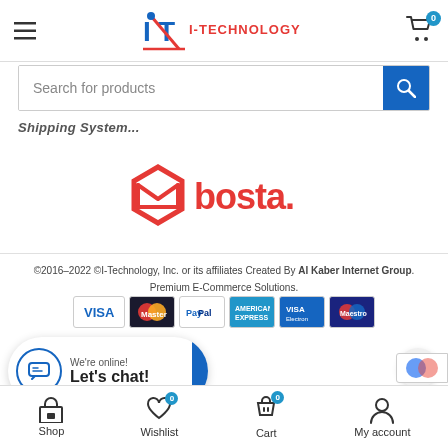I-Technology — Navigation header with logo, hamburger menu, cart icon
Search for products
Shipping System...
[Figure (logo): Bosta shipping logo — red hexagon envelope icon with 'bosta.' text]
©2016–2022 ©I-Technology, Inc. or its affiliates Created By Al Kaber Internet Group. Premium E-Commerce Solutions.
[Figure (infographic): Payment method icons: VISA, MasterCard, PayPal, American Express, VISA Electron, Maestro]
We're online! Let's chat!
Shop | Wishlist (0) | Cart (0) | My account — bottom navigation bar